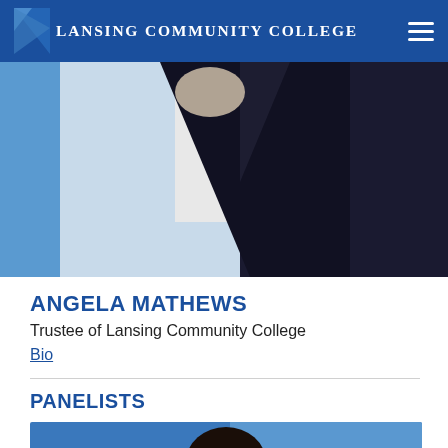LANSING COMMUNITY COLLEGE
[Figure (photo): Partial photo of Angela Mathews, showing upper body in professional attire against a blue background]
ANGELA MATHEWS
Trustee of Lansing Community College
Bio
PANELISTS
[Figure (photo): Photo of a panelist, showing a person's head and shoulders against a blue background]